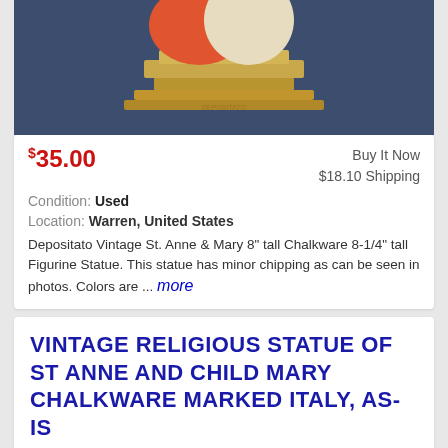[Figure (photo): Bottom portion of a chalkware religious figurine statue on a gold/tan pedestal base, against a dark blue background]
$35.00 Buy It Now $18.10 Shipping Condition: Used Location: Warren, United States Depositato Vintage St. Anne & Mary 8" tall Chalkware 8-1/4" tall Figurine Statue. This statue has minor chipping as can be seen in photos. Colors are ... more
VINTAGE RELIGIOUS STATUE OF ST ANNE AND CHILD MARY CHALKWARE MARKED ITALY, AS-IS
[Figure (photo): Religious figurine of a young Mary wearing a green head covering, looking downward, against a light grey/beige background]